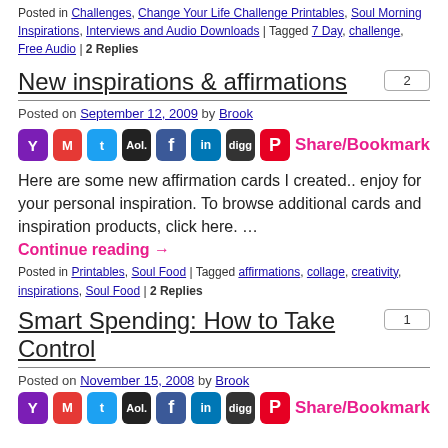Posted in Challenges, Change Your Life Challenge Printables, Soul Morning Inspirations, Interviews and Audio Downloads | Tagged 7 Day, challenge, Free Audio | 2 Replies
New inspirations & affirmations
Posted on September 12, 2009 by Brook
[Figure (infographic): Social sharing icons: Yahoo, Gmail, Twitter, AOL, Facebook, LinkedIn, Digg, Pinterest, and Share/Bookmark link]
Here are some new affirmation cards I created.. enjoy for your personal inspiration. To browse additional cards and inspiration products, click here. …
Continue reading →
Posted in Printables, Soul Food | Tagged affirmations, collage, creativity, inspirations, Soul Food | 2 Replies
Smart Spending: How to Take Control
Posted on November 15, 2008 by Brook
[Figure (infographic): Social sharing icons: Yahoo, Gmail, Twitter, AOL, Facebook, LinkedIn, Digg, Pinterest, and Share/Bookmark link]